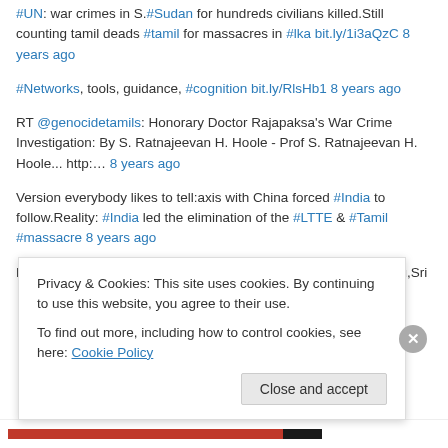#UN: war crimes in S.#Sudan for hundreds civilians killed.Still counting tamil deads #tamil for massacres in #lka bit.ly/1i3aQzC 8 years ago
#Networks, tools, guidance, #cognition bit.ly/RlsHb1 8 years ago
RT @genocidetamils: Honorary Doctor Rajapaksa's War Crime Investigation: By S. Ratnajeevan H. Hoole - Prof S. Ratnajeevan H. Hoole... http:… 8 years ago
Version everybody likes to tell:axis with China forced #India to follow.Reality: #India led the elimination of the #LTTE & #Tamil #massacre 8 years ago
Raja Imperialism:Kashmir,Nepal,Bangladesh,Assam,#Tamil Nadu,Sri
Privacy & Cookies: This site uses cookies. By continuing to use this website, you agree to their use.
To find out more, including how to control cookies, see here: Cookie Policy